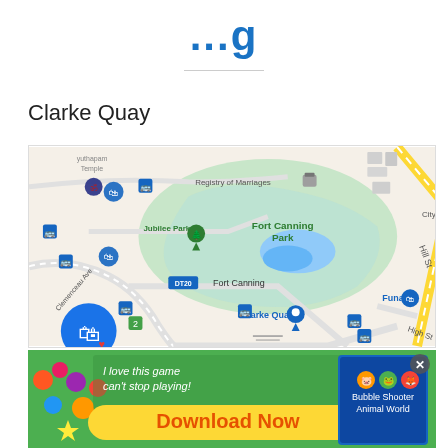...g
Clarke Quay
[Figure (map): Google Maps screenshot showing Clarke Quay area in Singapore, with Fort Canning Park (green area with blue lake), Jubilee Park, Registry of Marriages, Fort Canning MRT station (DT20), Hill St, High St, Funan mall, and a shopping bag with heart icon in the lower left. Blue bus stop icons and location pins visible throughout.]
[Figure (screenshot): Mobile advertisement banner at the bottom showing a game ad: 'I love this game can't stop playing!' with 'Download Now' in yellow text on green background, featuring colorful game graphics and 'Bubble Shooter Animal World' game thumbnail on the right, with an X close button.]